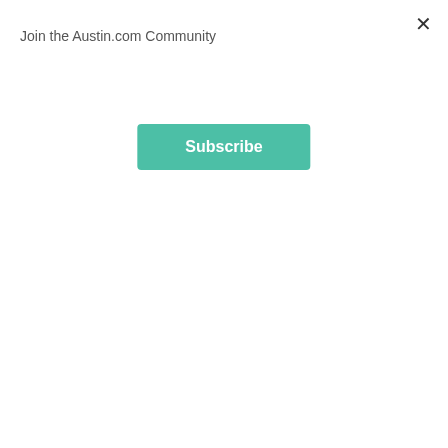Join the Austin.com Community
Subscribe
6 days ago
[Figure (photo): Aerial photo of Austin city skyline at sunset with river in foreground, overlaid with green banner reading FREE EVENTS THIS]
Top Free Austin Events Happening This Week: August 15 through August 19, 2022